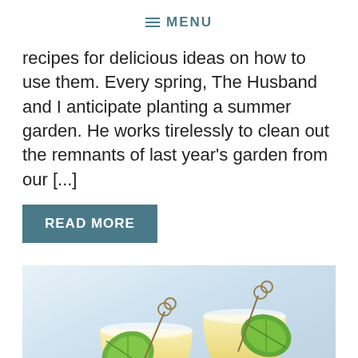≡ MENU
recipes for delicious ideas on how to use them. Every spring, The Husband and I anticipate planting a summer garden. He works tirelessly to clean out the remnants of last year's garden from our [...]
READ MORE
[Figure (photo): Two glasses of yellow cocktails (margaritas) garnished with lime wedges and decorative picks, with salted rims, against a light blue/white background]